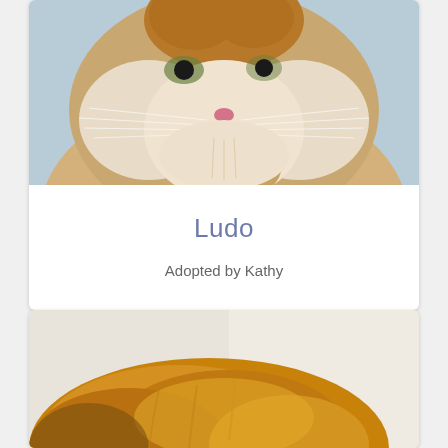[Figure (photo): Close-up photo of a fluffy long-haired cat (likely Persian or Maine Coon) with orange and cream fur, prominent whiskers, pink nose, and one paw raised near its face. The cat is photographed against a light blue background.]
Ludo
Adopted by Kathy
[Figure (photo): Partial close-up photo of an orange/ginger cat, showing mostly the top of the head and back, with a blurred light background.]